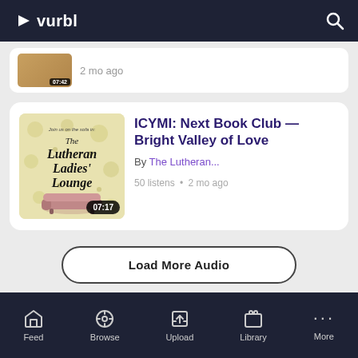vurbl
[Figure (screenshot): Partially visible podcast card with thumbnail and '2 mo ago' metadata]
[Figure (illustration): Lutheran Ladies' Lounge podcast cover art — yellow floral background with pink sofa, duration badge 07:17]
ICYMI: Next Book Club — Bright Valley of Love
By The Lutheran...
50 listens • 2 mo ago
Load More Audio
Feed  Browse  Upload  Library  More